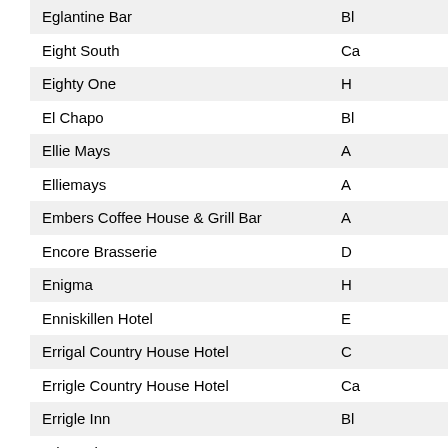| Name | Location |
| --- | --- |
| Eglantine Bar | Bl |
| Eight South | Ca |
| Eighty One | H |
| El Chapo | Bl |
| Ellie Mays | A |
| Elliemays | A |
| Embers Coffee House & Grill Bar | A |
| Encore Brasserie | D |
| Enigma | H |
| Enniskillen Hotel | E |
| Errigal Country House Hotel | C |
| Errigle Country House Hotel | Ca |
| Errigle Inn | Bl |
| Ethos Bistro | K |
| Experience Enniskillen | E |
| Experience Northern Ireland | Ca |
| Explore Omagh and The Sperrins Region | O |
| F & S Elephant Two | Bl |